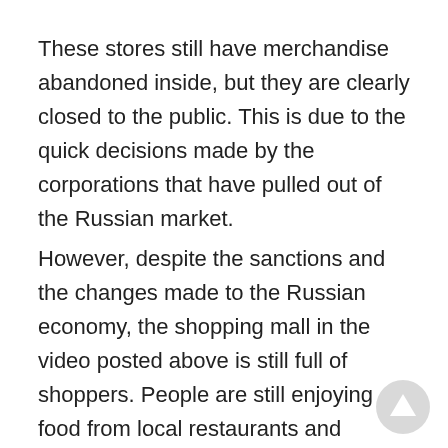These stores still have merchandise abandoned inside, but they are clearly closed to the public. This is due to the quick decisions made by the corporations that have pulled out of the Russian market.
However, despite the sanctions and the changes made to the Russian economy, the shopping mall in the video posted above is still full of shoppers. People are still enjoying food from local restaurants and purchasing items from local stores. There are some European stores that are still open, as well.